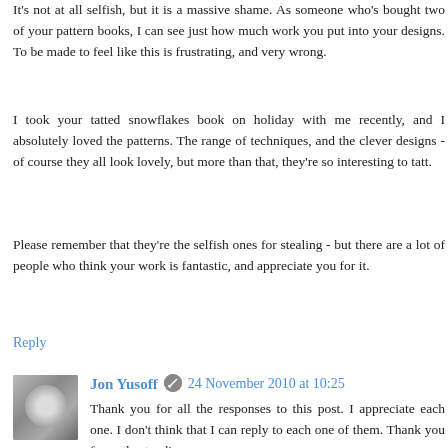It's not at all selfish, but it is a massive shame. As someone who's bought two of your pattern books, I can see just how much work you put into your designs. To be made to feel like this is frustrating, and very wrong.
I took your tatted snowflakes book on holiday with me recently, and I absolutely loved the patterns. The range of techniques, and the clever designs - of course they all look lovely, but more than that, they're so interesting to tatt.
Please remember that they're the selfish ones for stealing - but there are a lot of people who think your work is fantastic, and appreciate you for it.
Reply
Jon Yusoff  24 November 2010 at 10:25
Thank you for all the responses to this post. I appreciate each one. I don't think that I can reply to each one of them. Thank you for understanding
I guess I am still not wise to the world of the internet, but I